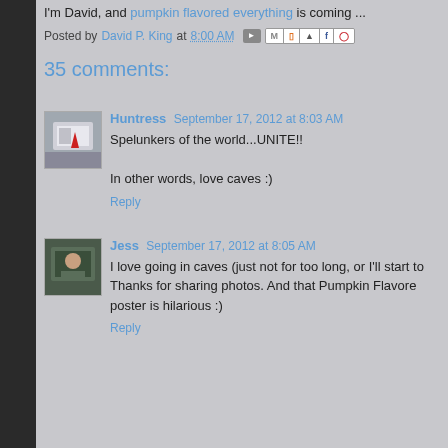I'm David, and pumpkin flavored everything is coming ...
Posted by David P. King at 8:00 AM
35 comments:
Huntress September 17, 2012 at 8:03 AM
Spelunkers of the world...UNITE!!

In other words, love caves :)
Reply
Jess September 17, 2012 at 8:05 AM
I love going in caves (just not for too long, or I'll start to... Thanks for sharing photos. And that Pumpkin Flavored... poster is hilarious :)
Reply